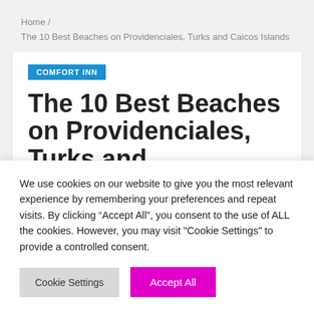Home / The 10 Best Beaches on Providenciales, Turks and Caicos Islands
COMFORT INN
The 10 Best Beaches on Providenciales, Turks and
We use cookies on our website to give you the most relevant experience by remembering your preferences and repeat visits. By clicking “Accept All”, you consent to the use of ALL the cookies. However, you may visit "Cookie Settings" to provide a controlled consent.
Cookie Settings  Accept All